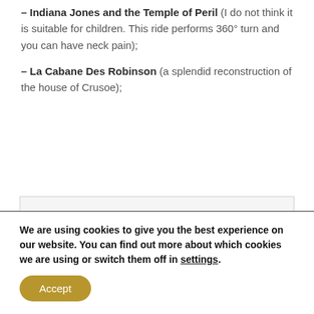– Indiana Jones and the Temple of Peril (I do not think it is suitable for children. This ride performs 360° turn and you can have neck pain);
– La Cabane Des Robinson (a splendid reconstruction of the house of Crusoe);
[Figure (other): Light grey placeholder box representing an image or advertisement]
We are using cookies to give you the best experience on our website. You can find out more about which cookies we are using or switch them off in settings.
Accept